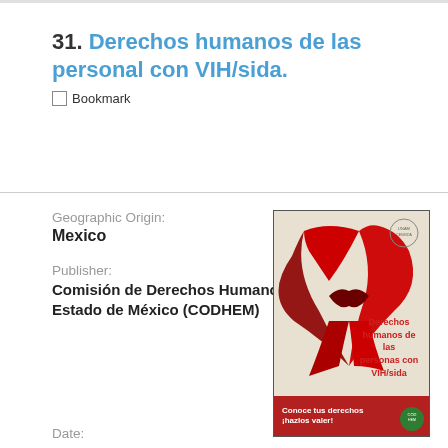31. Derechos humanos de las personal con VIH/sida.
Bookmark
Geographic Origin:
Mexico
Publisher:
Comisión de Derechos Humanos del Estado de México (CODHEM)
[Figure (illustration): Book cover showing a red AIDS awareness ribbon on a beige background with the text 'Derechos humanos de las personas con VIH/sida' and a red footer bar reading 'Conoce tus derechos ¡hazlos valer!']
Date: